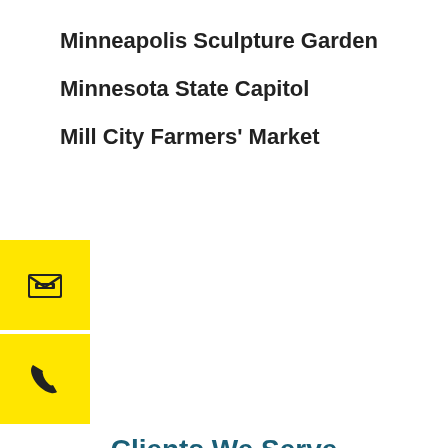Minneapolis Sculpture Garden
Minnesota State Capitol
Mill City Farmers' Market
[Figure (infographic): Two yellow square icon buttons stacked vertically: top button has an envelope/email icon, bottom button has a phone icon, both on yellow (#FFE600) background with black icons.]
Clients We Serve
[Figure (screenshot): A carousel slider showing three white card placeholders with light grey borders, flanked by left and right grey navigation arrow buttons.]